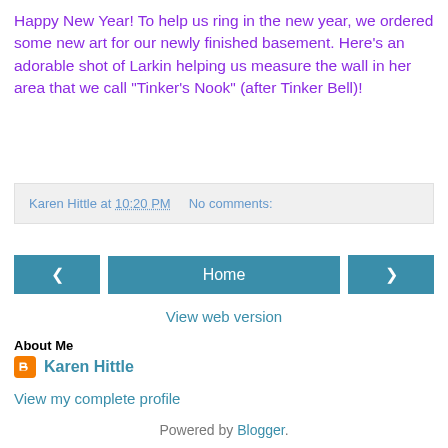Happy New Year! To help us ring in the new year, we ordered some new art for our newly finished basement. Here's an adorable shot of Larkin helping us measure the wall in her area that we call "Tinker's Nook" (after Tinker Bell)!
Karen Hittle at 10:20 PM   No comments:
‹  Home  ›
View web version
About Me
Karen Hittle
View my complete profile
Powered by Blogger.